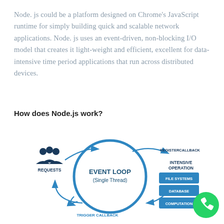Node. js could be a platform designed on Chrome's JavaScript runtime for simply building quick and scalable network applications. Node. js uses an event-driven, non-blocking I/O model that creates it light-weight and efficient, excellent for data-intensive time period applications that run across distributed devices.
How does Node.js work?
[Figure (flowchart): Node.js event loop diagram showing: REQUESTS (people icon) → REGISTERCALLBACK → INTENSIVE OPERATION (with FILE SYSTEMS, DATABASE, COMPUTATION boxes) → TRIGGER CALLBACK back to EVENT LOOP (Single Thread) in the center of a circular flow. A green WhatsApp-style button appears in bottom right.]